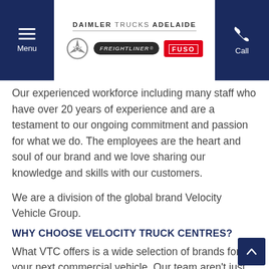DAIMLER TRUCKS ADELAIDE — Menu | Call
Our experienced workforce including many staff who have over 20 years of experience and are a testament to our ongoing commitment and passion for what we do. The employees are the heart and soul of our brand and we love sharing our knowledge and skills with our customers.
We are a division of the global brand Velocity Vehicle Group.
WHY CHOOSE VELOCITY TRUCK CENTRES?
What VTC offers is a wide selection of brands for your next commercial vehicle. Our team aren't just salespeople, we have a wealth of experience to help you purchase the right new or used vehicle. Whether it is a heavy truck, light commercial vehicle or even a bus, our dealer network can guide your decision process. Partnering with Velocity Truck…